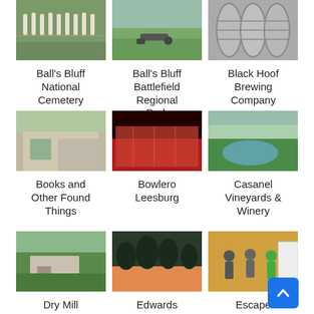[Figure (photo): Photo of Ball's Bluff National Cemetery with grave markers on green grass]
Ball's Bluff National Cemetery
[Figure (photo): Photo of Ball's Bluff Battlefield Regional Park with cannon and open field]
Ball's Bluff Battlefield Regional Park
[Figure (photo): Photo of Black Hoof Brewing Company showing metal kegs]
Black Hoof Brewing Company
[Figure (photo): Photo of Books and Other Found Things storefront]
Books and Other Found Things
[Figure (photo): Photo of Bowlero Leesburg bowling alley with red lighting]
Bowlero Leesburg
[Figure (photo): Aerial photo of Casanel Vineyards & Winery]
Casanel Vineyards & Winery
[Figure (photo): Photo of Dry Mill Vineyard & Winery LLC building with trees]
Dry Mill Vineyard & Winery LLC
[Figure (photo): Photo of Edwards Landing Park at sunset with water]
Edwards Landing Park
[Figure (photo): Photo of Escape Room LOCO interior with people]
Escape Room LOCO